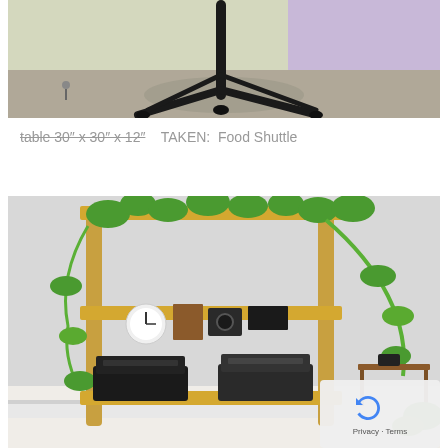[Figure (photo): Photo of a metal table or stand with curved black iron legs, sitting on grey/beige carpet in a room with wooden baseboard and purple/blue wall in background]
table 30" x 30" x 12"    TAKEN:  Food Shuttle
[Figure (photo): Photo of a wooden three-shelf bookcase/shelving unit with pothos plants crawling over it, vintage typewriters on the bottom shelf, a clock and camera on the middle shelf, and more plants. A small side table is visible to the right. A reCAPTCHA widget overlay appears in the bottom-right corner.]